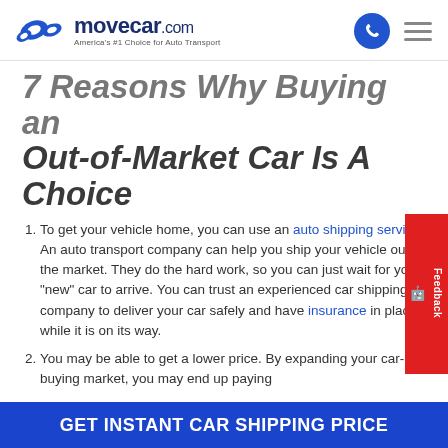movecar.com — America's #1 Choice for Auto Transport
7 Reasons Why Buying an Out-of-Market Car Is A Choice
To get your vehicle home, you can use an auto shipping service. An auto transport company can help you ship your vehicle out of the market. They do the hard work, so you can just wait for your "new" car to arrive. You can trust an experienced car shipping company to deliver your car safely and have insurance in place while it is on its way.
You may be able to get a lower price. By expanding your car-buying market, you may end up paying less. For if you shop local, you're only selling...
GET INSTANT CAR SHIPPING PRICE